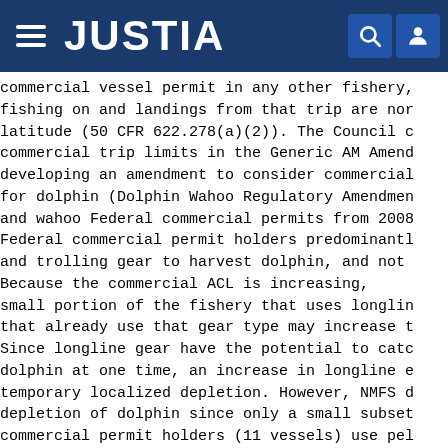JUSTIA
commercial vessel permit in any other fishery, fishing on and landings from that trip are nor latitude (50 CFR 622.278(a)(2)). The Council c commercial trip limits in the Generic AM Amend developing an amendment to consider commercial for dolphin (Dolphin Wahoo Regulatory Amendmen and wahoo Federal commercial permits from 2008 Federal commercial permit holders predominantl and trolling gear to harvest dolphin, and not Because the commercial ACL is increasing, small portion of the fishery that uses longlin that already use that gear type may increase t Since longline gear have the potential to catc dolphin at one time, an increase in longline e temporary localized depletion. However, NMFS d depletion of dolphin since only a small subset commercial permit holders (11 vessels) use pel